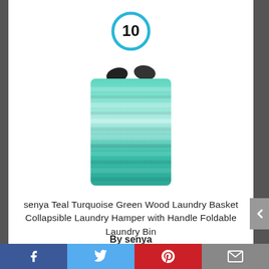[Figure (other): Blue circle with number 10 inside]
[Figure (photo): Teal turquoise green wood pattern collapsible laundry hamper with black handles]
senya Teal Turquoise Green Wood Laundry Basket Collapsible Laundry Hamper with Handle Foldable Laundry Bin
By senya